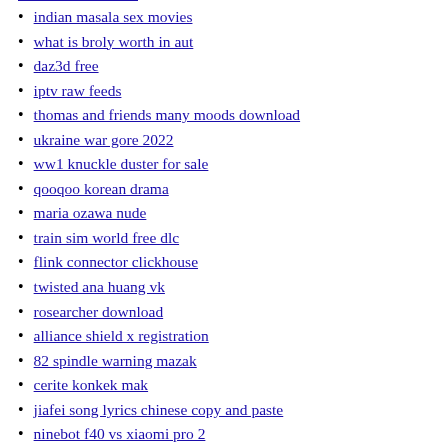indian masala sex movies
what is broly worth in aut
daz3d free
iptv raw feeds
thomas and friends many moods download
ukraine war gore 2022
ww1 knuckle duster for sale
qooqoo korean drama
maria ozawa nude
train sim world free dlc
flink connector clickhouse
twisted ana huang vk
rosearcher download
alliance shield x registration
82 spindle warning mazak
cerite konkek mak
jiafei song lyrics chinese copy and paste
ninebot f40 vs xiaomi pro 2
the first line of the input consists of an integer numofcust
westbound money script pastebin
the rise of gru
rockchip rk3568 datasheet
baba ijebu pay me my dough
script for pet sim x
mature moms want young cock